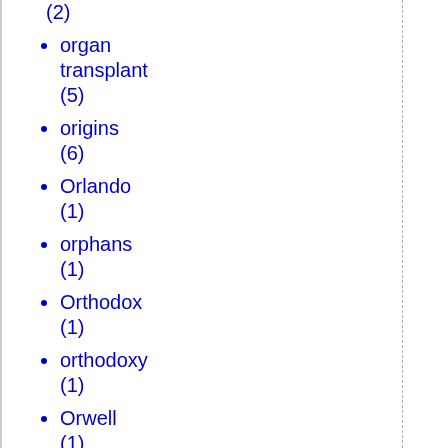(2)
organ transplant (5)
origins (6)
Orlando (1)
orphans (1)
Orthodox (1)
orthodoxy (1)
Orwell (1)
Outsourcing (1)
P.Z. Myers (1)
Pacific War (1)
Paganism